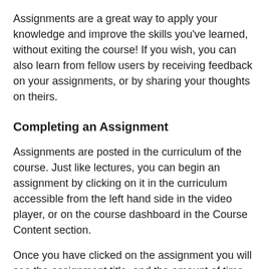Assignments are a great way to apply your knowledge and improve the skills you've learned, without exiting the course! If you wish, you can also learn from fellow users by receiving feedback on your assignments, or by sharing your thoughts on theirs.
Completing an Assignment
Assignments are posted in the curriculum of the course. Just like lectures, you can begin an assignment by clicking on it in the curriculum accessible from the left hand side in the video player, or on the course dashboard in the Course Content section.
Once you have clicked on the assignment you will see the assignment title, and the amount of time the instructor thinks it will take for you to complete it. This will give you a quick indication of whether you have enough time to complete the assignment now, or return to it later. In addition, the assignment feature comes with a “save